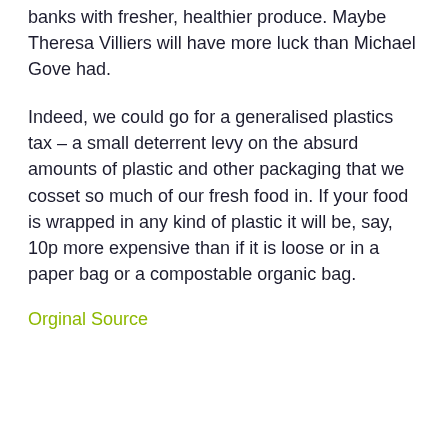banks with fresher, healthier produce. Maybe Theresa Villiers will have more luck than Michael Gove had.
Indeed, we could go for a generalised plastics tax – a small deterrent levy on the absurd amounts of plastic and other packaging that we cosset so much of our fresh food in. If your food is wrapped in any kind of plastic it will be, say, 10p more expensive than if it is loose or in a paper bag or a compostable organic bag.
Orginal Source